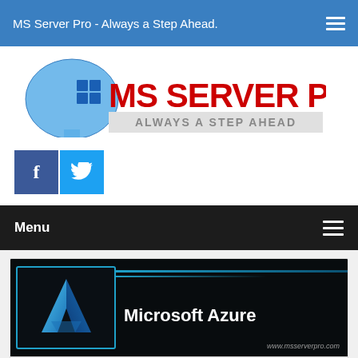MS Server Pro - Always a Step Ahead.
[Figure (logo): MS Server Pro logo with brain/head icon, red bold text 'MS SERVER PRO', and gray subtitle 'ALWAYS A STEP AHEAD']
[Figure (infographic): Facebook and Twitter social media buttons (dark blue f icon and light blue bird icon)]
Menu
[Figure (screenshot): Microsoft Azure article banner image with Azure logo 'A' on dark background and text 'Microsoft Azure', watermark www.msserverpro.com]